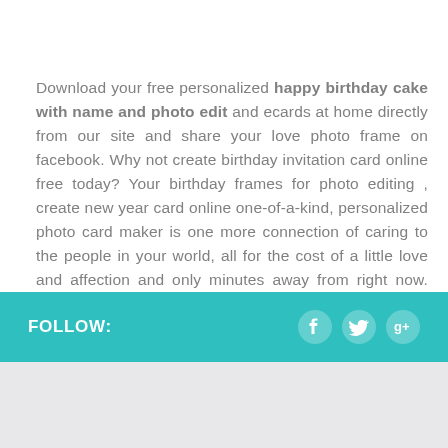Download your free personalized happy birthday cake with name and photo edit and ecards at home directly from our site and share your love photo frame on facebook. Why not create birthday invitation card online free today? Your birthday frames for photo editing , create new year card online one-of-a-kind, personalized photo card maker is one more connection of caring to the people in your world, all for the cost of a little love and affection and only minutes away from right now. So, go. Create smiles. Improve the universe.
FOLLOW: